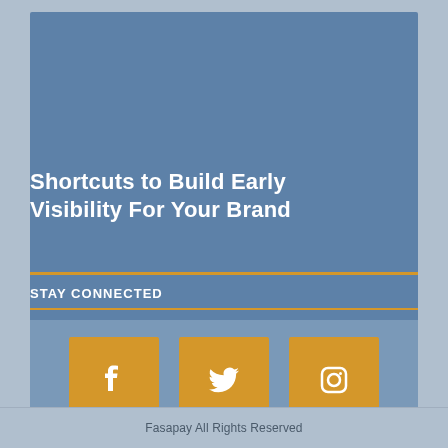Shortcuts to Build Early Visibility For Your Brand
STAY CONNECTED
[Figure (infographic): Three social media icon buttons (Facebook, Twitter, Instagram) displayed as golden square buttons on a blue background]
Fasapay All Rights Reserved